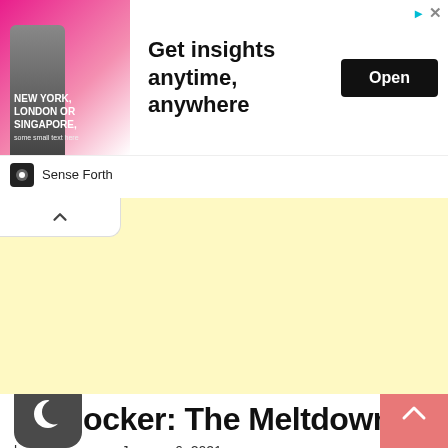[Figure (screenshot): Advertisement banner: man in suit on pink/magenta background with text 'New York, London or Singapore,' alongside headline 'Get insights anytime, anywhere' with an 'Open' button. Ad controls (arrow icon and X) in top right. Brand bar at bottom showing 'Sense Forth' logo.]
[Figure (screenshot): Yellow/cream colored advertisement block with a collapse (chevron up) button in top-left corner.]
Applocker: The Meltdown
by: rudyooms – January 6, 2021
This short blog will be about what to do when you have locked yourself out of your device when implementing Applocker and locked out of the application.